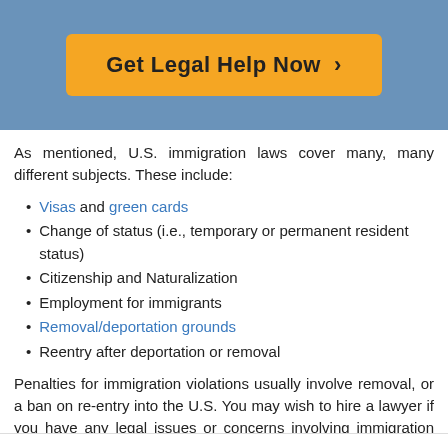[Figure (other): Orange call-to-action button labeled 'Get Legal Help Now >' on a blue background header bar]
As mentioned, U.S. immigration laws cover many, many different subjects. These include:
Visas and green cards
Change of status (i.e., temporary or permanent resident status)
Citizenship and Naturalization
Employment for immigrants
Removal/deportation grounds
Reentry after deportation or removal
Penalties for immigration violations usually involve removal, or a ban on re-entry into the U.S. You may wish to hire a lawyer if you have any legal issues or concerns involving immigration laws.